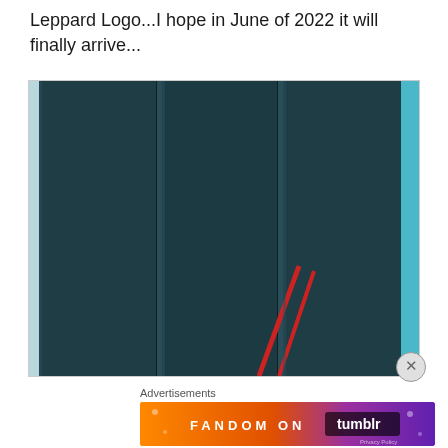Leppard Logo...I hope in June of 2022 it will finally arrive...
[Figure (photo): Three dark teal/navy colored box spines standing upright side by side, with a red diagonal accent visible at the bottom between the second and third boxes. Light blue/cyan background visible at the edges.]
Advertisements
[Figure (logo): FANDOM ON tumblr advertisement banner with gradient orange to purple background and music/fandom icons scattered throughout]